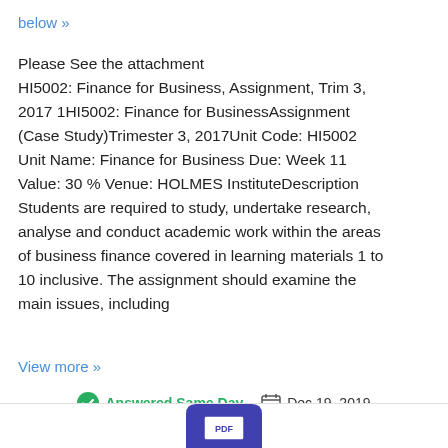below »
Please See the attachment HI5002: Finance for Business, Assignment, Trim 3, 2017 1HI5002: Finance for BusinessAssignment (Case Study)Trimester 3, 2017Unit Code: HI5002 Unit Name: Finance for Business Due: Week 11 Value: 30 % Venue: HOLMES InstituteDescription Students are required to study, undertake research, analyse and conduct academic work within the areas of business finance covered in learning materials 1 to 10 inclusive. The assignment should examine the main issues, including
View more »
Answered Same Day   Dec 19, 2019